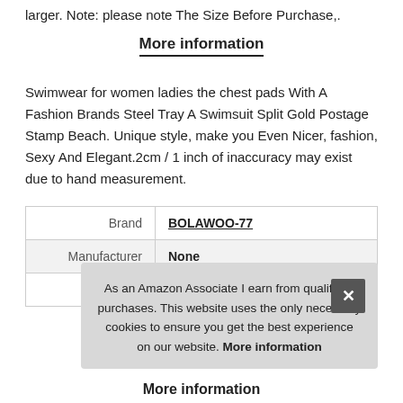larger. Note: please note The Size Before Purchase,.
More information
Swimwear for women ladies the chest pads With A Fashion Brands Steel Tray A Swimsuit Split Gold Postage Stamp Beach. Unique style, make you Even Nicer, fashion, Sexy And Elegant.2cm / 1 inch of inaccuracy may exist due to hand measurement.
|  |  |
| --- | --- |
| Brand | BOLAWOO-77 |
| Manufacturer | None |
| P |  |
As an Amazon Associate I earn from qualifying purchases. This website uses the only necessary cookies to ensure you get the best experience on our website. More information
More information